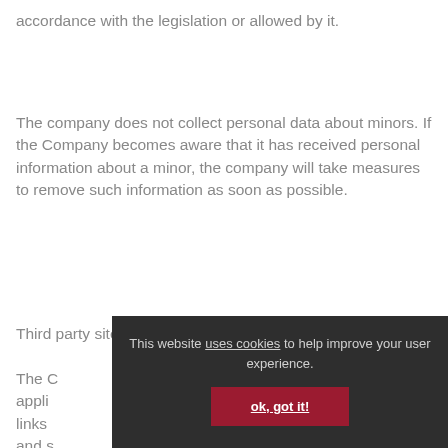accordance with the legislation or allowed by it.
The company does not collect personal data about minors. If the Company becomes aware that it has received personal information about a minor, the company will take measures to remove such information as soon as possible.
Third party sites and services
The C... appli... links... and s...
This website uses cookies to help improve your user experience.
ok, got it!